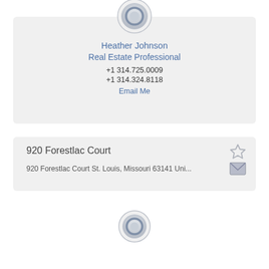[Figure (illustration): Circular avatar/profile photo placeholder at top center of agent card]
Heather Johnson
Real Estate Professional
+1 314.725.0009
+1 314.324.8118
Email Me
920 Forestlac Court
920 Forestlac Court St. Louis, Missouri 63141 Uni...
[Figure (illustration): Circular avatar/profile photo placeholder at bottom center of page]